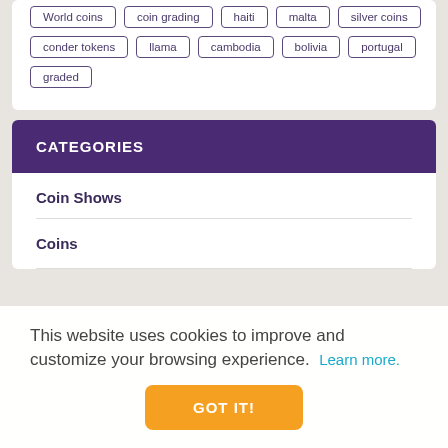World coins
coin grading
haiti
malta
silver coins
conder tokens
llama
cambodia
bolivia
portugal
graded
CATEGORIES
Coin Shows
Coins
This website uses cookies to improve and customize your browsing experience. Learn more.
GOT IT!